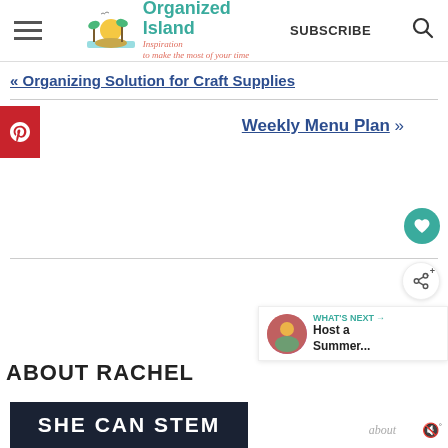Organized Island — Inspiration to make the most of your time | SUBSCRIBE
« Organizing Solution for Craft Supplies
Weekly Menu Plan »
WHAT'S NEXT → Host a Summer...
ABOUT RACHEL
[Figure (screenshot): SHE CAN STEM banner advertisement in dark navy background with white bold text]